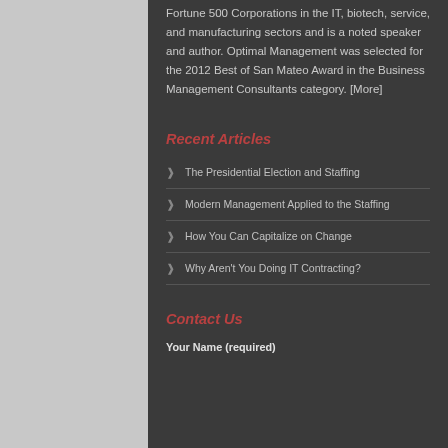Fortune 500 Corporations in the IT, biotech, service, and manufacturing sectors and is a noted speaker and author. Optimal Management was selected for the 2012 Best of San Mateo Award in the Business Management Consultants category. [More]
Recent Articles
The Presidential Election and Staffing
Modern Management Applied to the Staffing
How You Can Capitalize on Change
Why Aren't You Doing IT Contracting?
Contact Us
Your Name (required)